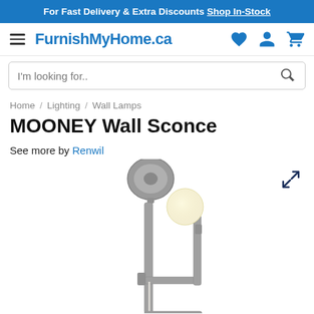For Fast Delivery & Extra Discounts Shop In-Stock
FurnishMyHome.ca
I'm looking for..
Home / Lighting / Wall Lamps
MOONEY Wall Sconce
See more by Renwil
[Figure (photo): MOONEY Wall Sconce product image showing a brushed nickel wall sconce with two arms and a globe bulb]